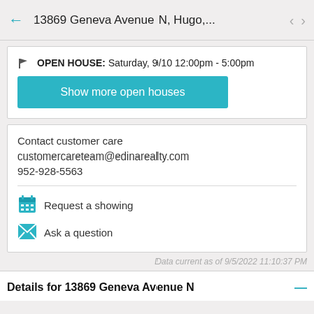13869 Geneva Avenue N, Hugo,...
OPEN HOUSE: Saturday, 9/10 12:00pm - 5:00pm
Show more open houses
Contact customer care
customercareteam@edinarealty.com
952-928-5563
Request a showing
Ask a question
Data current as of 9/5/2022 11:10:37 PM
Details for 13869 Geneva Avenue N